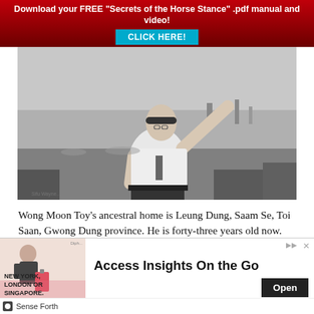[Figure (infographic): Red banner with white bold text: 'Download your FREE "Secrets of the Horse Stance" .pdf manual and video!' with a cyan/blue 'CLICK HERE!' button below.]
[Figure (photo): Black and white photograph of a man (Wong Moon Toy) in a white shirt practicing a martial arts stance outdoors, with a harbor/city backdrop.]
Wong Moon Toy's ancestral home is Leung Dung, Saam Se, Toi Saan, Gwong Dung province. He is forty-three years old now. Already from an early age he liked sports very much and ad Northern Chinese martial arts from Lau Iuk Fung, a
[Figure (screenshot): Advertisement banner: 'Access Insights On the Go' with photo of man with luggage, text 'NEW YORK, LONDON OR SINGAPORE.' and an 'Open' button. Sponsored by Sense Forth.]